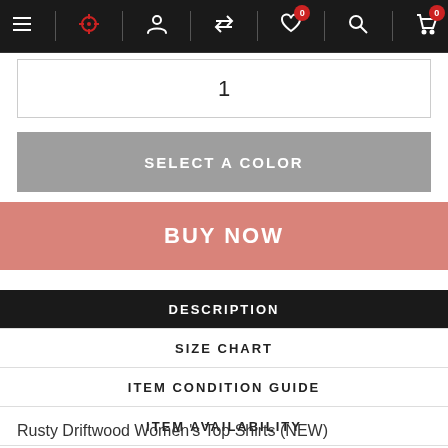Navigation bar with menu, crosshair, profile, transfer, wishlist (0), search, cart (0) icons
1
SELECT A COLOR
BUY NOW
DESCRIPTION
SIZE CHART
ITEM CONDITION GUIDE
ITEM AVAILABILITY
CUSTOMER REVIEWS
Rusty Driftwood Women's Top Shirts (NEW)